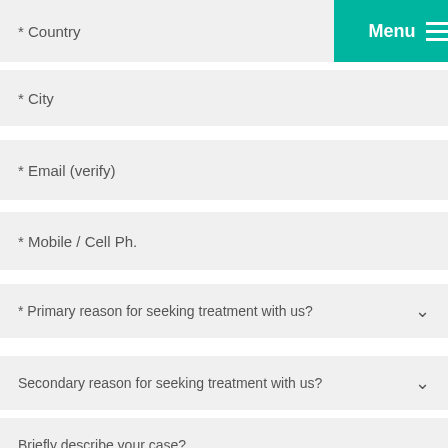* Country
Menu
* City
* Email (verify)
* Mobile / Cell Ph.
* Primary reason for seeking treatment with us?
Secondary reason for seeking treatment with us?
Briefly describe your case?